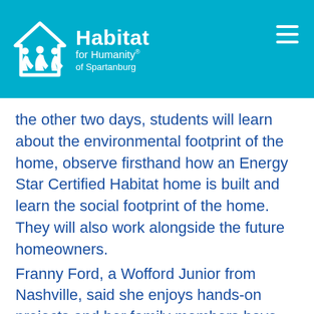Habitat for Humanity® of Spartanburg
the other two days, students will learn about the environmental footprint of the home, observe firsthand how an Energy Star Certified Habitat home is built and learn the social footprint of the home. They will also work alongside the future homeowners.
Franny Ford, a Wofford Junior from Nashville, said she enjoys hands-on projects and her family members have volunteered on other Habitat projectss.
"I saw this Interim and it was a no-brainer," she said. "I'm so excited to be able to work on this home that